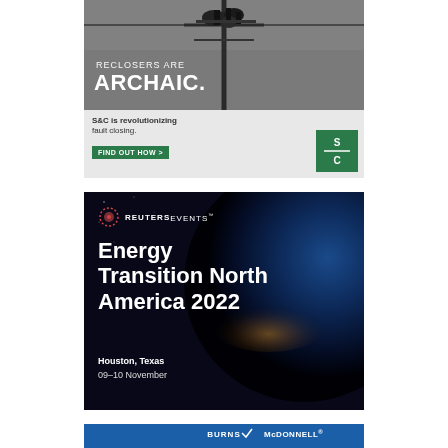[Figure (illustration): S&C Electric advertisement showing power line recloser equipment with text 'RECLOSERS ARE ARCHAIC.' and tagline 'S&C is revolutionizing fault closing. FIND OUT HOW >' with S&C green logo.]
[Figure (illustration): Reuters Events advertisement for 'Energy Transition North America 2022' in Houston, Texas, 09-10 November, shown against a dark background with Earth from space imagery.]
[Figure (illustration): Burns & McDonnell advertisement with blue background showing 'IN-DEPTH' and partial text 'UNDERSTANDING' in green italic letters.]